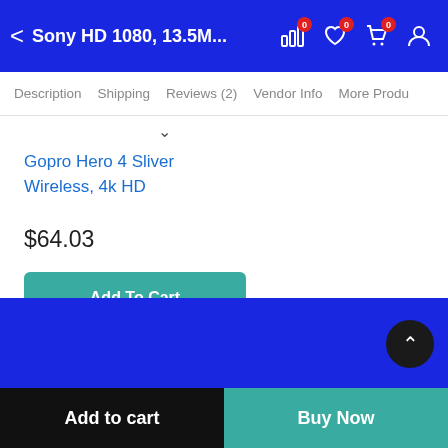Sony HD 1080, 13.5M...
Description  Shipping  Reviews (2)  Vendor Info  More Produ
Gopro Hero 4 Sliver Wireless, 4k HD
$64.03
Add To Cart
Add to cart
Buy Now